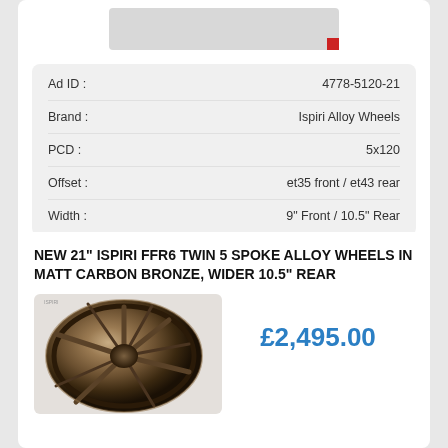[Figure (photo): Partial view of an alloy wheel (dark/silver) at top of page, with a small red square marker]
| Field | Value |
| --- | --- |
| Ad ID : | 4778-5120-21 |
| Brand : | Ispiri Alloy Wheels |
| PCD : | 5x120 |
| Offset : | et35 front / et43 rear |
| Width : | 9" Front / 10.5" Rear |
NEW 21" ISPIRI FFR6 TWIN 5 SPOKE ALLOY WHEELS IN MATT CARBON BRONZE, WIDER 10.5" REAR
[Figure (photo): Bronze/matt carbon alloy wheel (Ispiri FFR6) with twin 5-spoke design]
£2,495.00